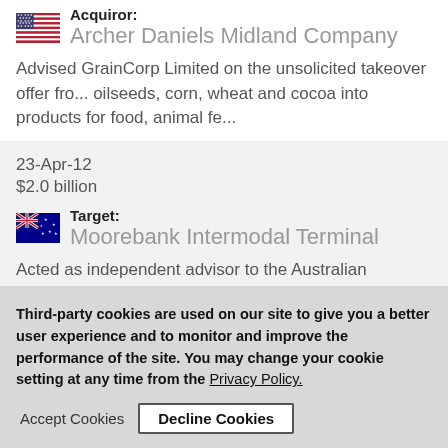Acquiror: Archer Daniels Midland Company
Advised GrainCorp Limited on the unsolicited takeover offer fro... oilseeds, corn, wheat and cocoa into products for food, animal fe...
23-Apr-12
$2.0 billion
Target: Moorebank Intermodal Terminal
Acted as independent advisor to the Australian Government in a... port with Australia's road and rail system
Third-party cookies are used on our site to give you a better user experience and to monitor and improve the performance of the site. You may change your cookie setting at any time from the Privacy Policy.
Accept Cookies | Decline Cookies